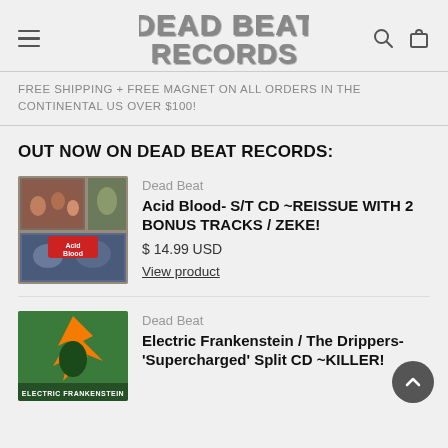Dead Beat Records
FREE SHIPPING + FREE MAGNET ON ALL ORDERS IN THE CONTINENTAL US OVER $100!
OUT NOW ON DEAD BEAT RECORDS:
[Figure (photo): Acid Blood album cover collage showing band photos]
Dead Beat
Acid Blood- S/T CD ~REISSUE WITH 2 BONUS TRACKS / ZEKE!
$ 14.99 USD
View product
[Figure (photo): Electric Frankenstein logo/artwork with orange lightning design on green background]
Dead Beat
Electric Frankenstein / The Drippers- 'Supercharged' Split CD ~KILLER!